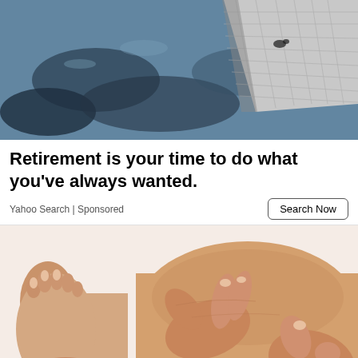[Figure (photo): Top portion of an advertisement image showing dark water and a dock/platform with a grid-like surface]
Retirement is your time to do what you've always wanted.
Yahoo Search | Sponsored
[Figure (photo): Close-up photo of hands massaging a human foot and ankle on a white background]